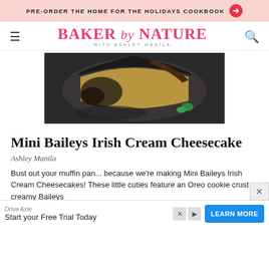PRE-ORDER THE HOME FOR THE HOLIDAYS COOKBOOK →
BAKER by NATURE WITH ASHLEY MANILA
[Figure (photo): Close-up overhead photo of a Mini Baileys Irish Cream Cheesecake showing golden cheesecake filling with dark Oreo cookie crust and chocolate ganache, garnished with mint.]
Mini Baileys Irish Cream Cheesecake
Ashley Manila
Bust out your muffin pan... because we're making Mini Baileys Irish Cream Cheesecakes! These little cuties feature an Oreo cookie crust, creamy Baileys cheesecake filling, and silky chocolate ganache. If you love Baileys, this is sure to become a
[Figure (screenshot): Advertisement overlay: Drive Axle - Start your Free Trial Today with LEARN MORE button]